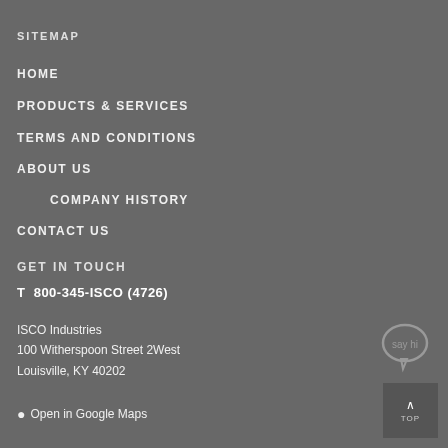SITEMAP
HOME
PRODUCTS & SERVICES
TERMS AND CONDITIONS
ABOUT US
COMPANY HISTORY
CONTACT US
GET IN TOUCH
T  800-345-ISCO (4726)
ISCO Industries
100 Witherspoon Street 2West
Louisville, KY 40202
Open in Google Maps
[Figure (other): Chat bubble icon with speech bubble shape]
[Figure (other): TOP button with upward arrow]